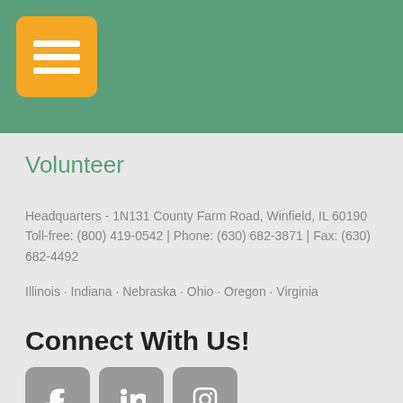[Figure (logo): Orange rounded square with three white horizontal lines (hamburger menu icon) on a green header background]
Volunteer
Headquarters - 1N131 County Farm Road, Winfield, IL 60190
Toll-free: (800) 419-0542 | Phone: (630) 682-3871 | Fax: (630) 682-4492
Illinois · Indiana · Nebraska · Ohio · Oregon · Virginia
Connect With Us!
[Figure (infographic): Three social media icon buttons in gray rounded squares: Facebook (f), LinkedIn (in), Instagram (camera icon)]